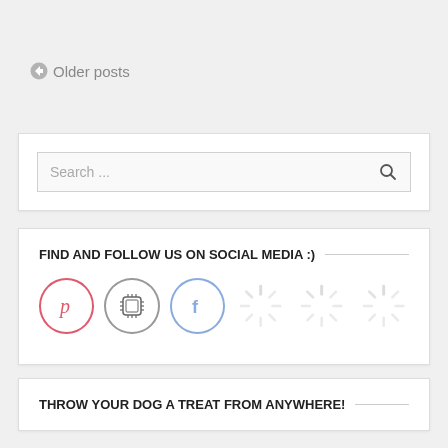← Older posts
[Figure (screenshot): Search input box with placeholder text 'Search ...' and a magnifying glass icon]
FIND AND FOLLOW US ON SOCIAL MEDIA :)
[Figure (illustration): Social media icons: Pinterest (pink circle with P), Instagram (gray circle with camera/chip icon), Facebook (blue circle with f), followed by three gray loading spinner icons]
THROW YOUR DOG A TREAT FROM ANYWHERE!